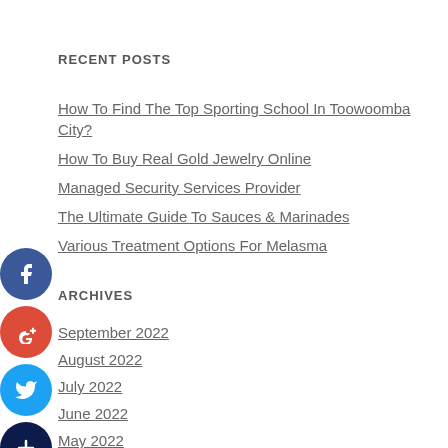RECENT POSTS
How To Find The Top Sporting School In Toowoomba City?
How To Buy Real Gold Jewelry Online
Managed Security Services Provider
The Ultimate Guide To Sauces & Marinades
Various Treatment Options For Melasma
ARCHIVES
September 2022
August 2022
July 2022
June 2022
May 2022
April 2022